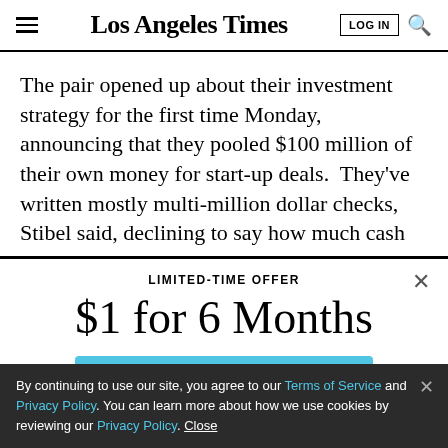Los Angeles Times
The pair opened up about their investment strategy for the first time Monday, announcing that they pooled $100 million of their own money for start-up deals.  They've written mostly multi-million dollar checks, Stibel said, declining to say how much cash
LIMITED-TIME OFFER
$1 for 6 Months
SUBSCRIBE NOW
By continuing to use our site, you agree to our Terms of Service and Privacy Policy. You can learn more about how we use cookies by reviewing our Privacy Policy. Close